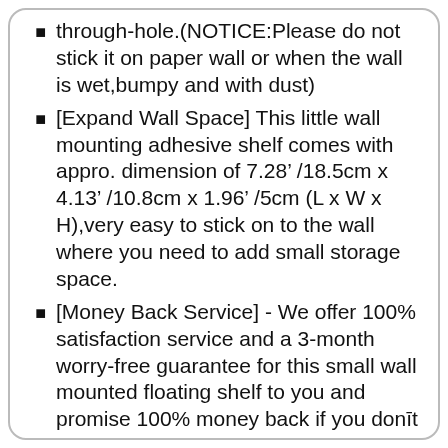through-hole.(NOTICE:Please do not stick it on paper wall or when the wall is wet,bumpy and with dust)
[Expand Wall Space] This little wall mounting adhesive shelf comes with appro. dimension of 7.28" /18.5cm x 4.13" /10.8cm x 1.96" /5cm (L x W x H),very easy to stick on to the wall where you need to add small storage space.
[Money Back Service] - We offer 100% satisfaction service and a 3-month worry-free guarantee for this small wall mounted floating shelf to you and promise 100% money back if you doni¨t like it.Just buy in confidence and please feel free to contact us if you have any concerns.